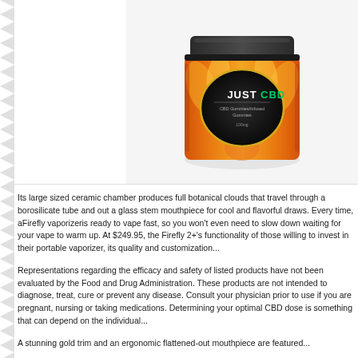[Figure (photo): JustCBD CBD Gummies jar product photo — cylindrical jar with black lid, orange/red floral pattern wrap, gold JUSTCBD logo on black center label, on white/light grey background]
Its large sized ceramic chamber produces full botanical clouds that travel through a borosilicate tube and out a glass stem mouthpiece for cool and flavorful draws. Every time, aFirefly vaporizeris ready to vape fast, so you won't even need to slow down waiting for your vape to warm up. At $249.95, the Firefly 2+'s functionality of those willing to invest in their portable vaporizer, its quality and customizati...
Representations regarding the efficacy and safety of listed products have not been evaluated by the Food and Drug Administration. These products are not intended to diagnose, treat, cure or prevent any disease. Consult your physician prior to use if you are pregnant, nursing or taking medications. Determining your optimal CBD dose is something that can depend on the i...
A stunning gold trim and an ergonomic flattened-out mouthpiece are featur...